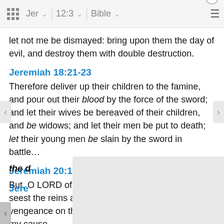Jer | 12:3 | Bible
let not me be dismayed: bring upon them the day of evil, and destroy them with double destruction.
Jeremiah 18:21-23
Therefore deliver up their children to the famine, and pour out their blood by the force of the sword; and let their wives be bereaved of their children, and be widows; and let their men be put to death; let their young men be slain by the sword in battle…
Jeremiah 20:12
But, O LORD of hosts, that triest the righteous, and seest the reins and the heart, let me see thy vengeance on them: for unto thee have I opened my cause.
the d
Jere